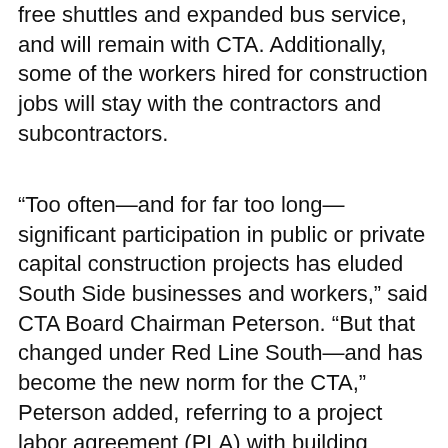free shuttles and expanded bus service, and will remain with CTA. Additionally, some of the workers hired for construction jobs will stay with the contractors and subcontractors.
“Too often—and for far too long—significant participation in public or private capital construction projects has eluded South Side businesses and workers,” said CTA Board Chairman Peterson. “But that changed under Red Line South—and has become the new norm for the CTA,” Peterson added, referring to a project labor agreement (PLA) with building trades unions the CTA signed in September.  The PLA requires contractors working on most CTA construction projects to provide employment opportunities to disadvantaged workers as established by the Workforce development Act...